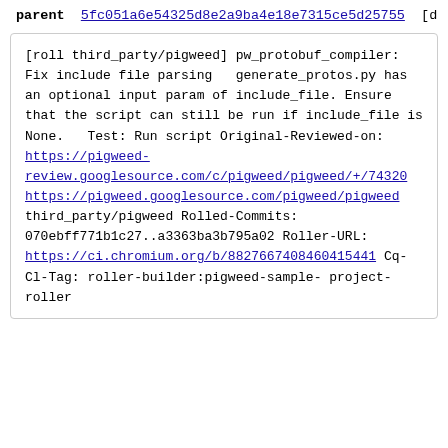parent 5fc051a6e54325d8e2a9ba4e18e7315ce5d25755 [d
[roll third_party/pigweed]
pw_protobuf_compiler: Fix include file parsing

generate_protos.py has an optional input param
of include_file. Ensure
that the script can still be run if
include_file is None.

Test: Run script
Original-Reviewed-on: https://pigweed-review.googlesource.com/c/pigweed/pigweed/+/74320

https://pigweed.googlesource.com/pigweed/pigweed
third_party/pigweed Rolled-Commits:
070ebff771b1c27..a3363ba3b795a02
Roller-URL:
https://ci.chromium.org/b/8827667408460415441
Cq-Cl-Tag: roller-builder:pigweed-sample-project-roller